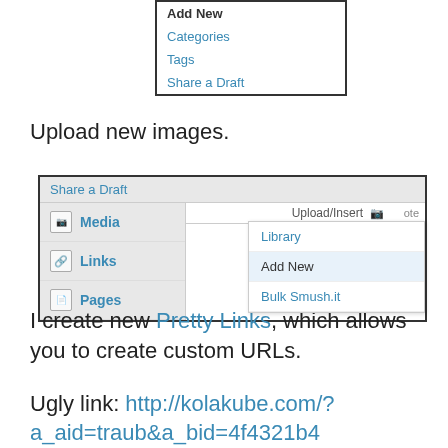[Figure (screenshot): WordPress admin menu dropdown showing Add New (bold), Categories, Tags, Share a Draft options in a bordered box]
Upload new images.
[Figure (screenshot): WordPress admin sidebar screenshot showing Media, Links, Pages menu items on the left and an Upload/Insert dropdown on the right with Library, Add New (highlighted), and Bulk Smush.it options]
I create new Pretty Links, which allows you to create custom URLs.
Ugly link: http://kolakube.com/?a_aid=traub&a_bid=4f4321b4